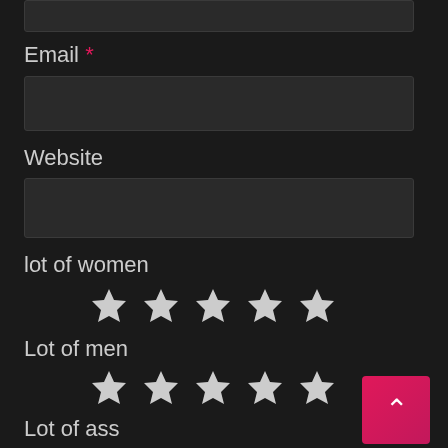[Figure (screenshot): Partial text input box at top of page (cropped)]
Email *
[Figure (screenshot): Email input field (empty text box)]
Website
[Figure (screenshot): Website input field (empty text box)]
lot of women
[Figure (other): 5-star rating widget (all stars filled) for 'lot of women']
Lot of men
[Figure (other): 5-star rating widget (all stars filled) for 'Lot of men']
Lot of ass
[Figure (other): 5-star rating widget (all stars filled) for 'Lot of ass']
Lot of tits